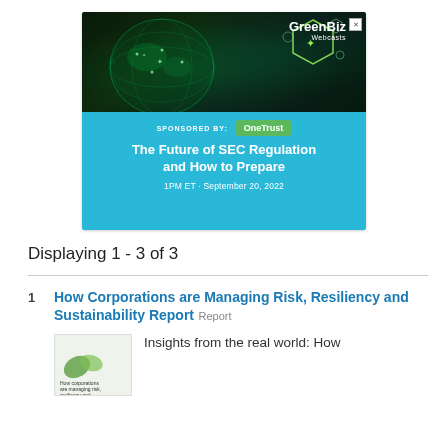[Figure (screenshot): GreenBiz Webcasts advertisement banner for 'The Future of SEC Regulation and How to Prepare' webcast, sponsored by OneTrust, scheduled for 1PM ET September 20 2022. Dark green globe graphic on top half, cyan/teal background on bottom half.]
Displaying 1 - 3 of 3
1  How Corporations are Managing Risk, Resiliency and Sustainability Report  Report  Insights from the real world: How